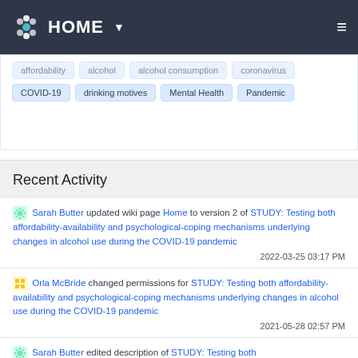HOME
affordability  alcohol  alcohol consumption  coronavirus
COVID-19  drinking motives  Mental Health  Pandemic
Recent Activity
Sarah Butter updated wiki page Home to version 2 of STUDY: Testing both affordability-availability and psychological-coping mechanisms underlying changes in alcohol use during the COVID-19 pandemic
2022-03-25 03:17 PM
Orla McBride changed permissions for STUDY: Testing both affordability-availability and psychological-coping mechanisms underlying changes in alcohol use during the COVID-19 pandemic
2021-05-28 02:57 PM
Sarah Butter edited description of STUDY: Testing both